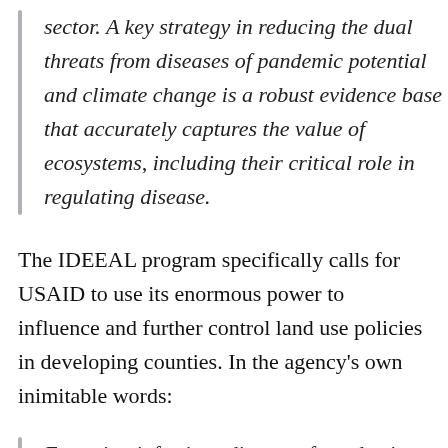sector. A key strategy in reducing the dual threats from diseases of pandemic potential and climate change is a robust evidence base that accurately captures the value of ecosystems, including their critical role in regulating disease.
The IDEEAL program specifically calls for USAID to use its enormous power to influence and further control land use policies in developing counties. In the agency's own inimitable words:
Emerging infectious disease of pandemic potential and unchecked climate change